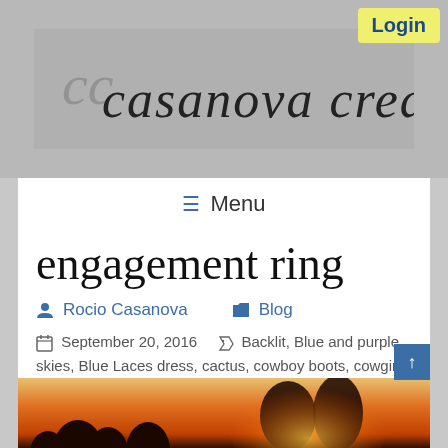[Figure (screenshot): Website screenshot of casanova creations photography blog. Grey textured header with cursive logo text 'cc casanova creations'. Yellow Login button in top right corner. White navigation bar with hamburger menu icon and 'Menu' text. Blog post page showing title 'engagement ring', author 'Rocio Casanova', category 'Blog', date 'September 20, 2016', and tags including Backlit, Blue and purple skies, Blue Laces dress, cactus, cowboy boots, cowgirl boots, Desert Engagement, engagement ring, Gates Pass, green desert, Made with MagMod, Nikon D750, panoramic views, She said Yes, Silhouette, skyline, Tucson, Tucson Bride, Tucson Engagament Photographer. Bottom shows partial photo of couple at sunset.]